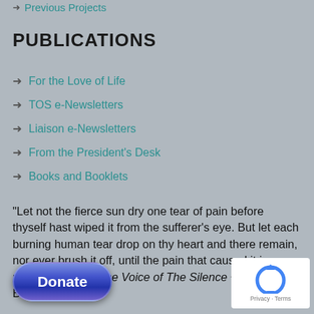Previous Projects
PUBLICATIONS
For the Love of Life
TOS e-Newsletters
Liaison e-Newsletters
From the President's Desk
Books and Booklets
"Let not the fierce sun dry one tear of pain before thyself hast wiped it from the sufferer’s eye. But let each burning human tear drop on thy heart and there remain, nor ever brush it off, until the pain that caused it is removed." From The Voice of The Silence ~ H.P. Blavatsky